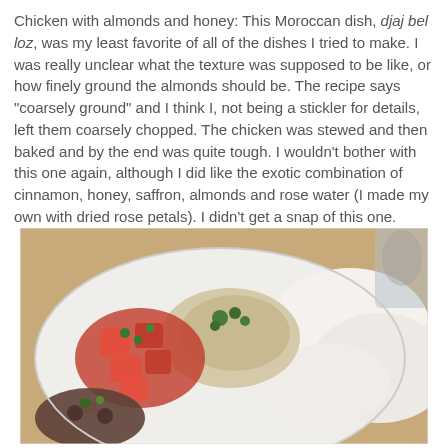Chicken with almonds and honey: This Moroccan dish, djaj bel loz, was my least favorite of all of the dishes I tried to make. I was really unclear what the texture was supposed to be like, or how finely ground the almonds should be. The recipe says "coarsely ground" and I think I, not being a stickler for details, left them coarsely chopped. The chicken was stewed and then baked and by the end was quite tough. I wouldn't bother with this one again, although I did like the exotic combination of cinnamon, honey, saffron, almonds and rose water (I made my own with dried rose petals). I didn't get a snap of this one.
[Figure (photo): A white plate with Moroccan food: chopped tomato salad with herbs on the left, a creamy chicken dish with parsley in the center, and white bread rolls on the right, on a wooden table.]